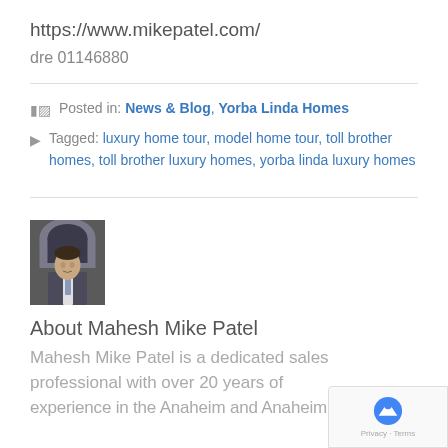https://www.mikepatel.com/
dre 01146880
Posted in: News & Blog, Yorba Linda Homes
Tagged: luxury home tour, model home tour, toll brother homes, toll brother luxury homes, yorba linda luxury homes
[Figure (photo): Headshot photo of Mahesh Mike Patel, a man in a suit standing in front of an arched doorway]
About Mahesh Mike Patel
Mahesh Mike Patel is a dedicated sales professional with over 20 years of experience in the Anaheim and Anaheim...